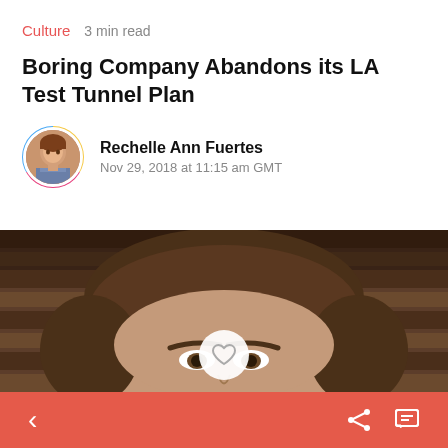Culture  3 min read
Boring Company Abandons its LA Test Tunnel Plan
Rechelle Ann Fuertes
Nov 29, 2018 at 11:15 am GMT
[Figure (photo): Close-up photo of a man (Elon Musk) with dark hair, cropped at the nose, with wooden slatted background]
Navigation bar with back arrow, heart/like button, share icon, and comment icon